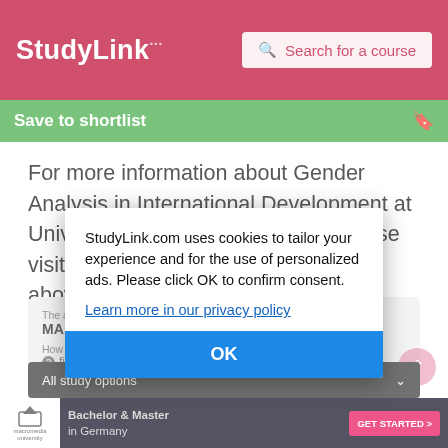StudyLink — Search for a course
Save to shortlist
For more information about Gender Analysis in International Development at University of East Anglia (UEA), please visit the webpage using the button above.
| The award | How you will study |
| --- | --- |
| MA | full-time |
How long you will study
❓ find out
Domestic course fees
❓ find out
International course fees
StudyLink.com uses cookies to tailor your experience and for the use of personalized ads. Please click OK to confirm consent.
Learn more in our privacy policy
OK
All study options
Bachelor & Master in Germany — GET STARTED >